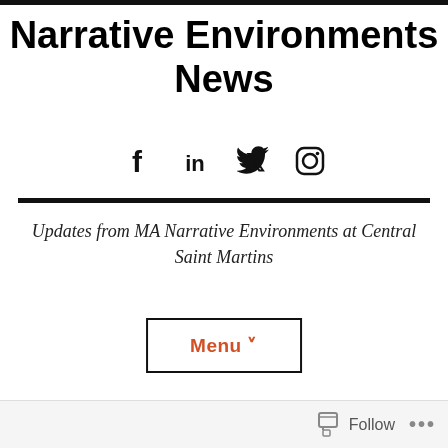Narrative Environments News
[Figure (other): Social media icons: Facebook, LinkedIn, Twitter, Instagram]
Updates from MA Narrative Environments at Central Saint Martins
Menu ˅
Follow ...